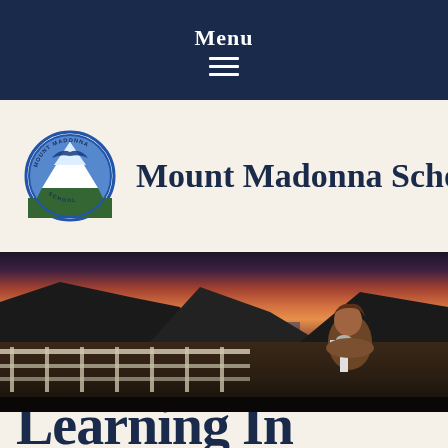Menu
[Figure (logo): Mount Madonna School circular logo with bird and mountains]
Mount Madonna School
[Figure (photo): A student looking through a microscope or telescope on an outdoor deck at sunset, with mountains and water in the background]
Learning Inspires...